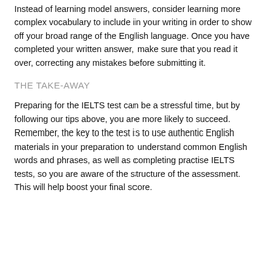Instead of learning model answers, consider learning more complex vocabulary to include in your writing in order to show off your broad range of the English language. Once you have completed your written answer, make sure that you read it over, correcting any mistakes before submitting it.
THE TAKE-AWAY
Preparing for the IELTS test can be a stressful time, but by following our tips above, you are more likely to succeed. Remember, the key to the test is to use authentic English materials in your preparation to understand common English words and phrases, as well as completing practise IELTS tests, so you are aware of the structure of the assessment. This will help boost your final score.